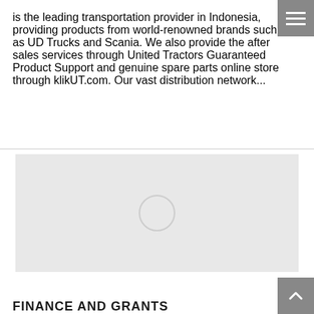is the leading transportation provider in Indonesia, providing products from world-renowned brands such as UD Trucks and Scania. We also provide the after sales services through United Tractors Guaranteed Product Support and genuine spare parts online store through klikUT.com. Our vast distribution network...
[Figure (other): A gray placeholder image area with a loading spinner circle in the center]
FINANCE AND GRANTS